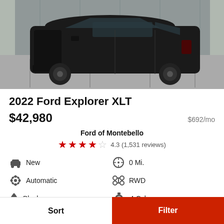[Figure (photo): Black 2022 Ford Explorer XLT SUV parked in a lot with glass building behind it]
2022 Ford Explorer XLT
$42,980   $692/mo
Ford of Montebello
4.3 (1,531 reviews)
New
0 Mi.
Automatic
RWD
Black
4 Cyl.
Sort   Filter